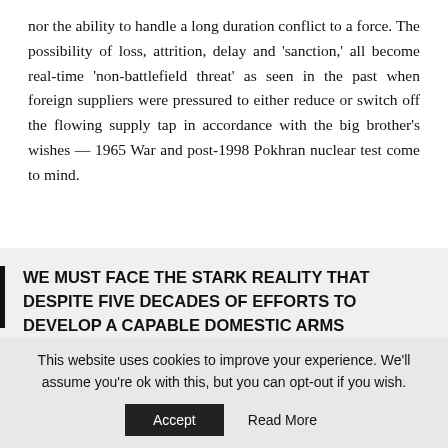nor the ability to handle a long duration conflict to a force. The possibility of loss, attrition, delay and 'sanction,' all become real-time 'non-battlefield threat' as seen in the past when foreign suppliers were pressured to either reduce or switch off the flowing supply tap in accordance with the big brother's wishes — 1965 War and post-1998 Pokhran nuclear test come to mind.
WE MUST FACE THE STARK REALITY THAT DESPITE FIVE DECADES OF EFFORTS TO DEVELOP A CAPABLE DOMESTIC ARMS INDUSTRY, INDIA STILL HEAVILY DEPENDS ON THE IMPORT OF SEVERAL CATEGORIES OF WEAPONS. THE FOREMOST OF WHICH ARE
This website uses cookies to improve your experience. We'll assume you're ok with this, but you can opt-out if you wish.